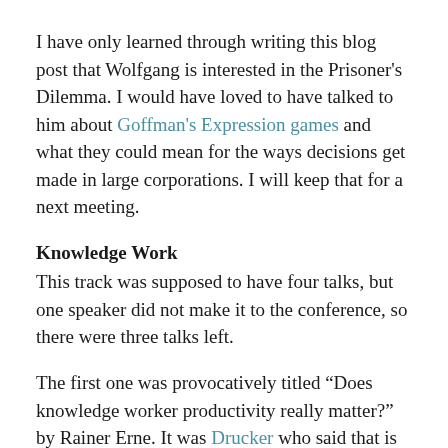I have only learned through writing this blog post that Wolfgang is interested in the Prisoner's Dilemma. I would have loved to have talked to him about Goffman's Expression games and what they could mean for the ways decisions get made in large corporations. I will keep that for a next meeting.
Knowledge Work
This track was supposed to have four talks, but one speaker did not make it to the conference, so there were three talks left.
The first one was provocatively titled “Does knowledge worker productivity really matter?” by Rainer Erne. It was Drucker who said that is used to be the job of management to increase the productivity of manual labour and that is now the job of management to make knowledge workers more productive. In one sense